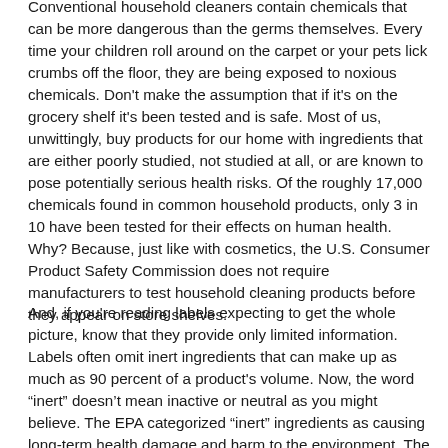Conventional household cleaners contain chemicals that can be more dangerous than the germs themselves. Every time your children roll around on the carpet or your pets lick crumbs off the floor, they are being exposed to noxious chemicals. Don't make the assumption that if it's on the grocery shelf it's been tested and is safe. Most of us, unwittingly, buy products for our home with ingredients that are either poorly studied, not studied at all, or are known to pose potentially serious health risks. Of the roughly 17,000 chemicals found in common household products, only 3 in 10 have been tested for their effects on human health. Why? Because, just like with cosmetics, the U.S. Consumer Product Safety Commission does not require manufacturers to test household cleaning products before they appear on store shelves.
And, if you're reading labels expecting to get the whole picture, know that they provide only limited information. Labels often omit inert ingredients that can make up as much as 90 percent of a product's volume. Now, the word “inert” doesn’t mean inactive or neutral as you might believe. The EPA categorized “inert” ingredients as causing long-term health damage and harm to the environment. The